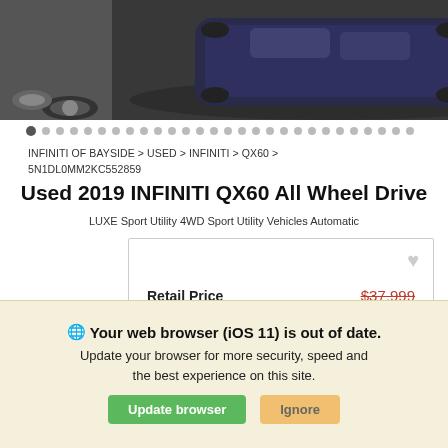[Figure (photo): Car photo strip showing a dark-colored INFINITI QX60 SUV from above, against a dark background, with partial images on left and right edges]
INFINITI OF BAYSIDE > USED > INFINITI > QX60 > 5N1DL0MM2KC552859
Used 2019 INFINITI QX60 All Wheel Drive
LUXE Sport Utility 4WD Sport Utility Vehicles Automatic
| Retail Price | $37,999 |
$32,999
Your web browser (iOS 11) is out of date. Update your browser for more security, speed and the best experience on this site.